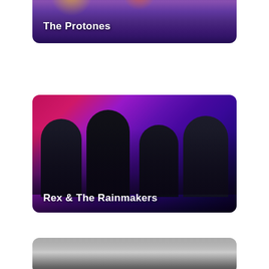[Figure (photo): Band photo card for 'The Protones' — musicians on stage under purple/orange stage lights, partially cropped at top of page. Text overlay reads 'The Protones' in white bold.]
[Figure (photo): Band photo card for 'Rex & The Rainmakers' — four men posing against a vivid pink/purple/magenta bokeh background. Text overlay reads 'Rex & The Rainmakers' in white bold.]
[Figure (photo): Partial band/artist photo card visible at bottom of page, showing dark metallic/grey tones, partially cropped.]